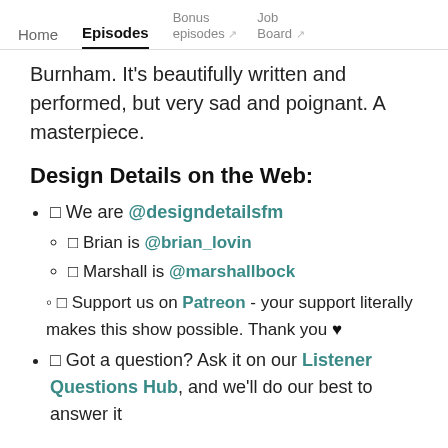Home  Episodes  Bonus episodes ↗  Job Board ↗
Burnham. It's beautifully written and performed, but very sad and poignant. A masterpiece.
Design Details on the Web:
🐦 We are @designdetailsfm
🐦 Brian is @brian_lovin
🐦 Marshall is @marshallbock
🙏 Support us on Patreon - your support literally makes this show possible. Thank you ♥
❓ Got a question? Ask it on our Listener Questions Hub, and we'll do our best to answer it